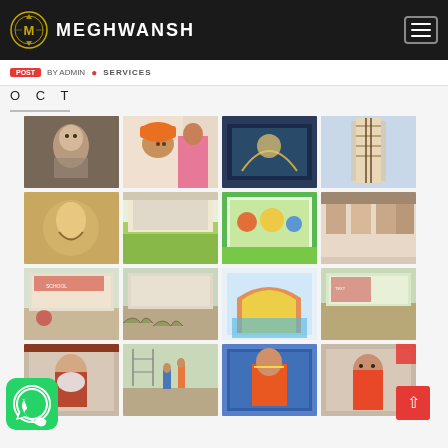MEGHWANSH
BY ADMIN • SERVICES
OCT
[Figure (photo): Gallery of artwork and mural paintings - 4 columns, 4+ rows showing paintings, murals, portraits and wall art]
[Figure (logo): WhatsApp icon - green circle with phone symbol]
[Figure (other): Scroll to top button - red square with upward arrow]